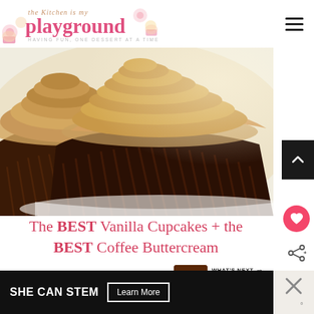the Kitchen is my playground — HAVING FUN, ONE DESSERT AT A TIME
[Figure (photo): Close-up photo of vanilla cupcakes in dark brown fluted paper liners with swirled coffee buttercream frosting on a white plate]
The BEST Vanilla Cupcakes + the BEST Coffee Buttercream
WHAT'S NEXT → Chocolate Banana Bread
[Figure (infographic): SHE CAN STEM Learn More advertisement banner with close button]